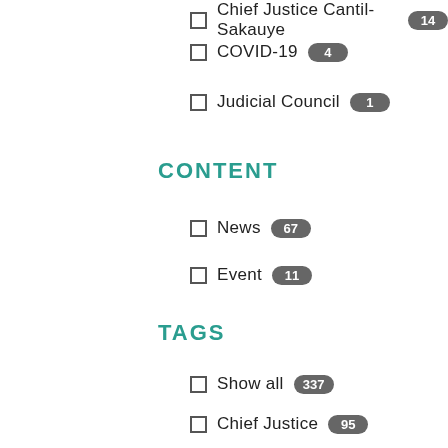Chief Justice Cantil-Sakauye 14
COVID-19 4
Judicial Council 1
CONTENT
News 67
Event 11
TAGS
Show all 337
Chief Justice 95
Judicial Council 86
Show more